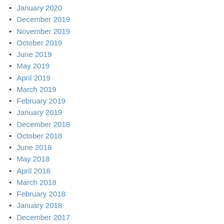January 2020
December 2019
November 2019
October 2019
June 2019
May 2019
April 2019
March 2019
February 2019
January 2019
December 2018
October 2018
June 2018
May 2018
April 2018
March 2018
February 2018
January 2018
December 2017
November 2017
October 2017
June 2017
May 2017
April 2017
February 2017
January 2017
December 2016